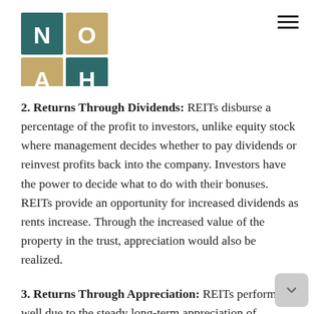[Figure (logo): Noah Ibrahim logo — 2x2 grid of colored squares with letters N, O, A, H and IBRAHIM text below]
2. Returns Through Dividends: REITs disburse a percentage of the profit to investors, unlike equity stock where management decides whether to pay dividends or reinvest profits back into the company. Investors have the power to decide what to do with their bonuses. REITs provide an opportunity for increased dividends as rents increase. Through the increased value of the property in the trust, appreciation would also be realized.
3. Returns Through Appreciation: REITs perform well due to the steady long-term appreciation of commercial